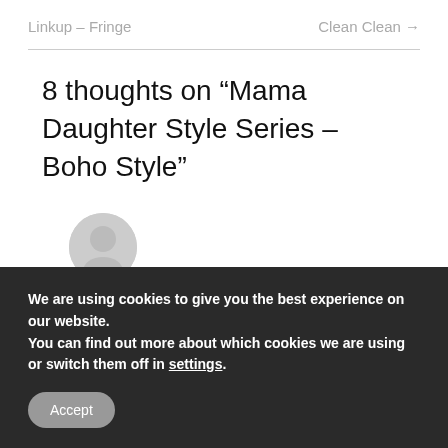Linkup – Fringe   Clean Clean →
8 thoughts on “Mama Daughter Style Series – Boho Style”
ELLE NOEL
We are using cookies to give you the best experience on our website.
You can find out more about which cookies we are using or switch them off in settings.
Accept